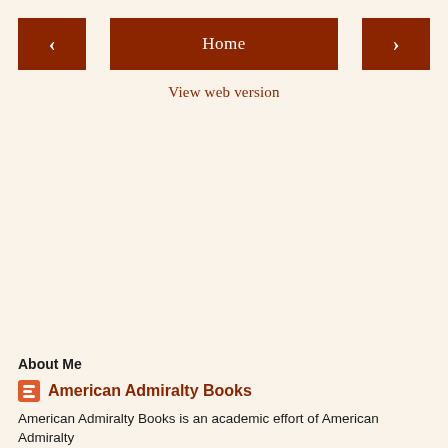[Figure (screenshot): Navigation bar with left arrow button, Home button, and right arrow button on a cream background]
View web version
About Me
American Admiralty Books
American Admiralty Books is an academic effort of American Admiralty